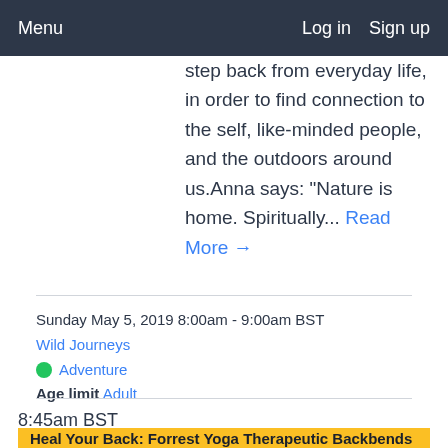Menu   Log in   Sign up
step back from everyday life, in order to find connection to the self, like-minded people, and the outdoors around us.Anna says: "Nature is home. Spiritually... Read More →
Sunday May 5, 2019 8:00am - 9:00am BST
Wild Journeys
Adventure
Age limit Adult
8:45am BST
Heal Your Back: Forrest Yoga Therapeutic Backbends